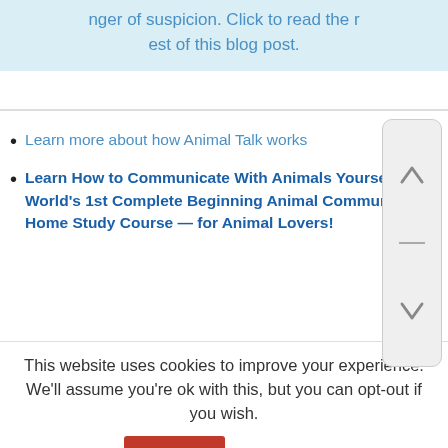Tiger of suspicion. Click to read the rest of this blog post.
[Figure (screenshot): Scroll up/down button widget with up arrow, horizontal divider, and down arrow on grey rounded rectangle background]
Learn more about how Animal Talk works
Learn How to Communicate With Animals Yourself! World's 1st Complete Beginning Animal Communication Home Study Course — for Animal Lovers!
This website uses cookies to improve your experience. We'll assume you're ok with this, but you can opt-out if you wish.
Accept   Read More